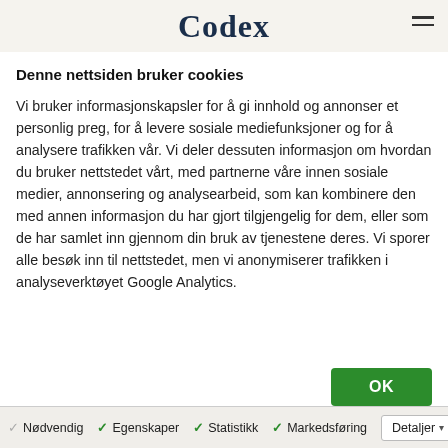Codex
Denne nettsiden bruker cookies
Vi bruker informasjonskapsler for å gi innhold og annonser et personlig preg, for å levere sosiale mediefunksjoner og for å analysere trafikken vår. Vi deler dessuten informasjon om hvordan du bruker nettstedet vårt, med partnerne våre innen sosiale medier, annonsering og analysearbeid, som kan kombinere den med annen informasjon du har gjort tilgjengelig for dem, eller som de har samlet inn gjennom din bruk av tjenestene deres. Vi sporer alle besøk inn til nettstedet, men vi anonymiserer trafikken i analyseverktøyet Google Analytics.
Nødvendig  Egenskaper  Statistikk  Markedsføring  Detaljer